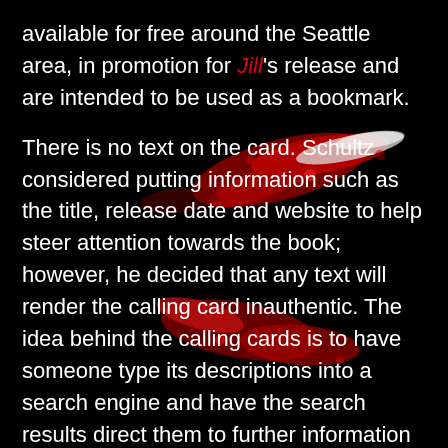[Figure (photo): Dark black background with abstract red and white splatter/paint strokes resembling blood or ink marks, used as background for text]
available for free around the Seattle area, in promotion for Jill's release and are intended to be used as a bookmark.

There is no text on the card. Schultz considered putting information such as the title, release date and website to help steer attention towards the book; however, he decided that any text will render the calling card inauthentic. The idea behind the calling cards is to have someone type its descriptions into a search engine and have the search results direct them to further information about the book. Schultz explains: